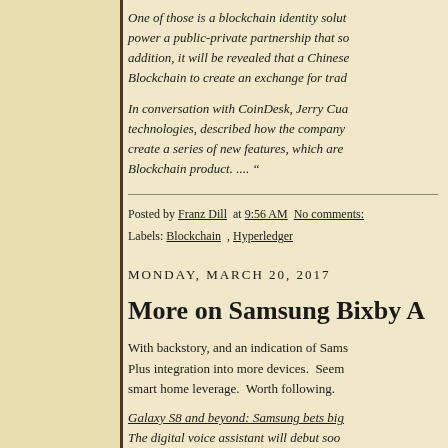One of those is a blockchain identity solut... power a public-private partnership that so... addition, it will be revealed that a Chinese... Blockchain to create an exchange for trad...
In conversation with CoinDesk, Jerry Cua... technologies, described how the company... create a series of new features, which are... Blockchain product. .... "
Posted by Franz Dill at 9:56 AM No comments:
Labels: Blockchain , Hyperledger
MONDAY, MARCH 20, 2017
More on Samsung Bixby A
With backstory, and an indication of Sams... Plus integration into more devices. Seems... smart home leverage. Worth following.
Galaxy S8 and beyond: Samsung bets big... The digital voice assistant will debut soon... the company plans to quickly add it to mo...